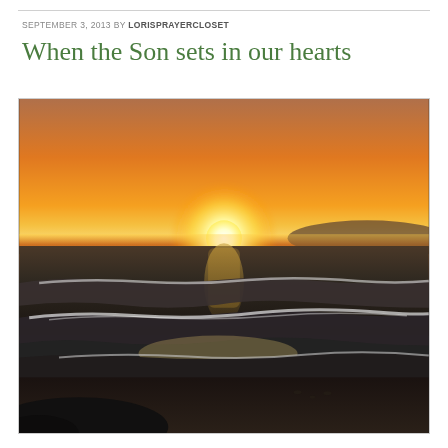SEPTEMBER 3, 2013 BY LORISPRAYERCLOSET
When the Son sets in our hearts
[Figure (photo): Ocean sunset photograph showing waves on a beach with the sun setting on the horizon, creating orange and golden sky tones reflecting on the water]